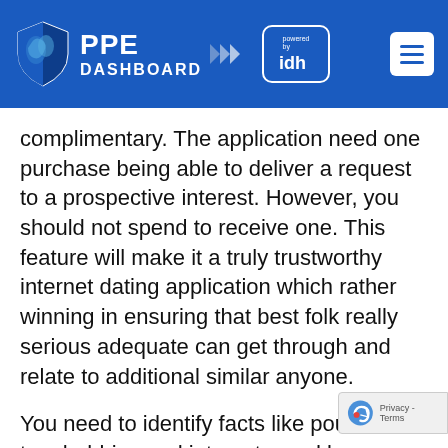[Figure (logo): PPE Dashboard logo with shield icon and 'powered by idh' badge, blue header bar with hamburger menu icon]
complimentary. The application need one purchase being able to deliver a request to a prospective interest. However, you should not spend to receive one. This feature will make it a truly trustworthy internet dating application which rather winning in ensuring that best folk really serious adequate can get through and relate to additional similar anyone.
You need to identify facts like pounds, top, hobbies and interests, and because the app is not complimentary, the chances of discovering folks who are shopping for more than just informal hookups will also be larger. That's what tends make software like these, profitable online dating